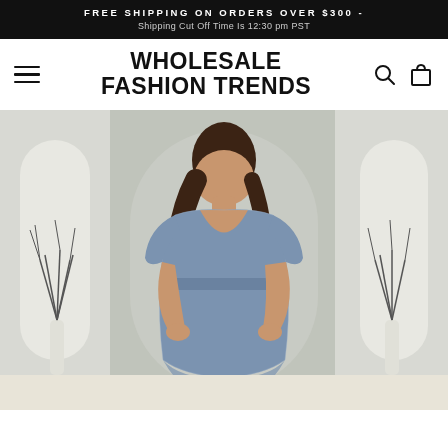FREE SHIPPING ON ORDERS OVER $300 - Shipping Cut Off Time Is 12:30 pm PST
WHOLESALE FASHION TRENDS
[Figure (photo): Fashion model wearing a blue lace V-neck dress, standing in a studio setting with decorative branches in white vases and arched alcoves in the background.]